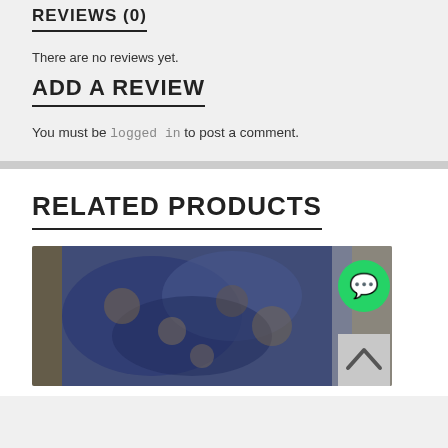REVIEWS (0)
There are no reviews yet.
ADD A REVIEW
You must be logged in to post a comment.
RELATED PRODUCTS
[Figure (photo): A blurred photo of a blue floral fabric/garment product]